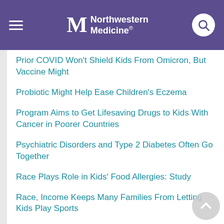Northwestern Medicine
Prior COVID Won't Shield Kids From Omicron, But Vaccine Might
Probiotic Might Help Ease Children's Eczema
Program Aims to Get Lifesaving Drugs to Kids With Cancer in Poorer Countries
Psychiatric Disorders and Type 2 Diabetes Often Go Together
Race Plays Role in Kids' Food Allergies: Study
Race, Income Keeps Many Families From Letting Kids Play Sports
Raising a Child With ADHD Can Test a Parent
Rash Decisions: Many Triggers for Children's Skin Outbreaks